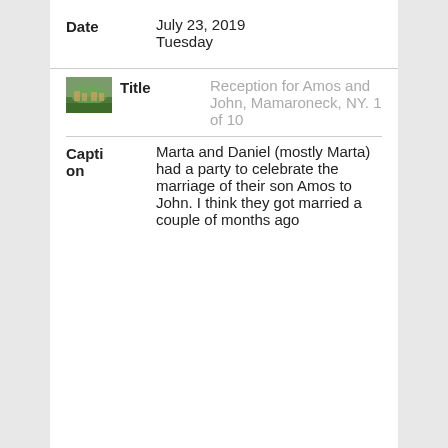Date
July 23, 2019
Tuesday
[Figure (photo): Small thumbnail photo of a group of people at an outdoor reception, trees in background.]
Reception for Amos and John, Mamaroneck, NY. 1 of 10
Marta and Daniel (mostly Marta) had a party to celebrate the marriage of their son Amos to John. I think they got married a couple of months ago